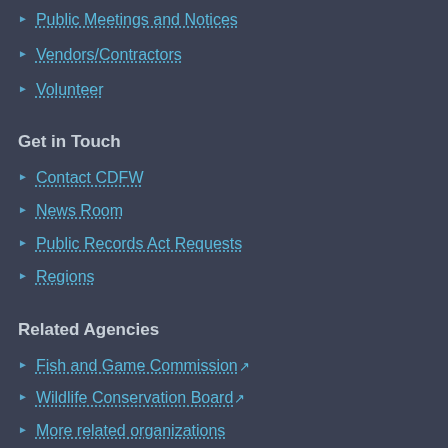Public Meetings and Notices
Vendors/Contractors
Volunteer
Get in Touch
Contact CDFW
News Room
Public Records Act Requests
Regions
Related Agencies
Fish and Game Commission
Wildlife Conservation Board
More related organizations